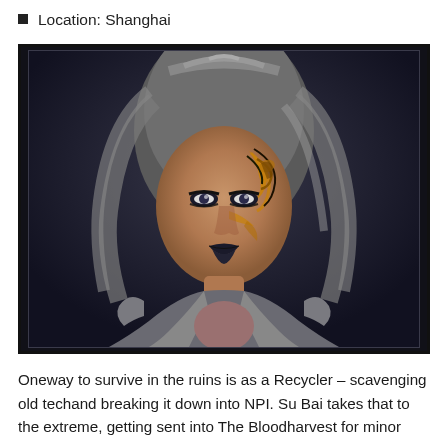Location: Shanghai
[Figure (illustration): 3D rendered portrait of a female character with grey hair, dark makeup with orange and black tribal tattoo-like face paint, dark lipstick, wearing worn leather/armor clothing with a dark background. Character appears to be from a video game.]
Oneway to survive in the ruins is as a Recycler – scavenging old techand breaking it down into NPI. Su Bai takes that to the extreme, getting sent into The Bloodharvest for minor